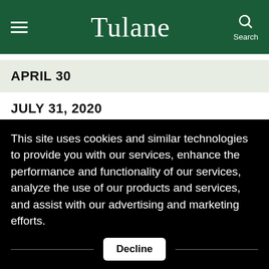Tulane
APRIL 30
JULY 31, 2020
AUGUST 3, 2020
AUGUST 3, 2020
This site uses cookies and similar technologies to provide you with our services, enhance the performance and functionality of our services, analyze the use of our products and services, and assist with our advertising and marketing efforts.
Decline